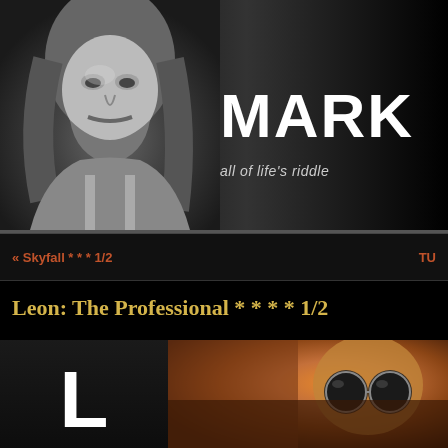[Figure (photo): Black and white photo of a man with long hair and beard on dark background, with large text 'MARK' and subtitle 'all of life's riddle' on the right side]
« Skyfall * * * 1/2
TU
Leon: The Professional * * * * 1/2
[Figure (photo): Movie poster for Leon: The Professional showing large letter L on dark background and a person wearing sunglasses on warm-toned right side]